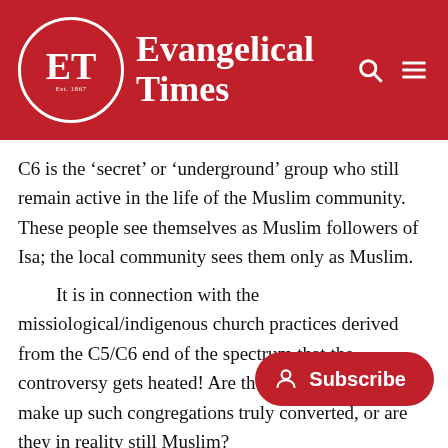Evangelical Times
C6 is the ‘secret’ or ‘underground’ group who still remain active in the life of the Muslim community. These people see themselves as Muslim followers of Isa; the local community sees them only as Muslim.

It is in connection with the missiological/indigenous church practices derived from the C5/C6 end of the spectrum that the controversy gets heated! Are those individuals who make up such congregations truly converted, or are they in reality still Muslim?

Now, we must be careful how from a safe, comfortable Western perspective we critique C5/C6 fol… many Islamic countries and communities, … Jesus Christ as Lord, God, and Saviour can result in severe …